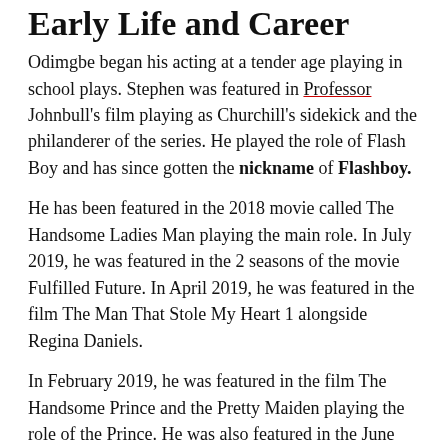Early Life and Career
Odimgbe began his acting at a tender age playing in school plays. Stephen was featured in Professor Johnbull's film playing as Churchill's sidekick and the philanderer of the series. He played the role of Flash Boy and has since gotten the nickname of Flashboy.
He has been featured in the 2018 movie called The Handsome Ladies Man playing the main role. In July 2019, he was featured in the 2 seasons of the movie Fulfilled Future. In April 2019, he was featured in the film The Man That Stole My Heart 1 alongside Regina Daniels.
In February 2019, he was featured in the film The Handsome Prince and the Pretty Maiden playing the role of the Prince. He was also featured in the June 2019 film titled The Poor Party Before The Wedding Ceremony. This information will soon be updated.